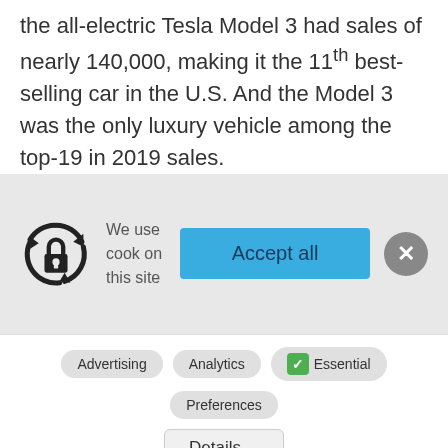the all-electric Tesla Model 3 had sales of nearly 140,000, making it the 11th best-selling car in the U.S. And the Model 3 was the only luxury vehicle among the top-19 in 2019 sales.
[Figure (screenshot): Cookie consent banner with lock/recycle icon, 'We use cookies on this site' text, a blue 'Accept all' button, and a grey close (X) button]
Advertising  Analytics  ✓ Essential  Preferences
Details ∨